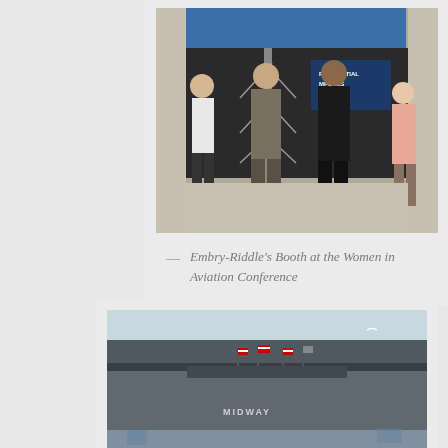[Figure (photo): People standing at a trade show booth with an Embry-Riddle display showing 'RESIDENTIAL CAMPUSES' signage and a large screen above]
— Embry-Riddle's Booth at the Women in Aviation Conference
[Figure (photo): Front view of the USS Midway aircraft carrier museum docked at port, with American flags displayed and 'MIDWAY' written on the hull]